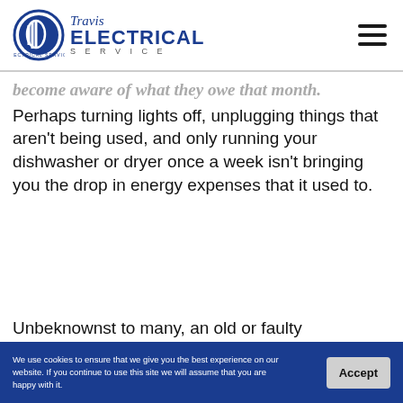Travis Electrical Service
become aware of what they owe that month. Perhaps turning lights off, unplugging things that aren't being used, and only running your dishwasher or dryer once a week isn't bringing you the drop in energy expenses that it used to.
Unbeknownst to many, an old or faulty electrical...
We use cookies to ensure that we give you the best experience on our website. If you continue to use this site we will assume that you are happy with it. Accept